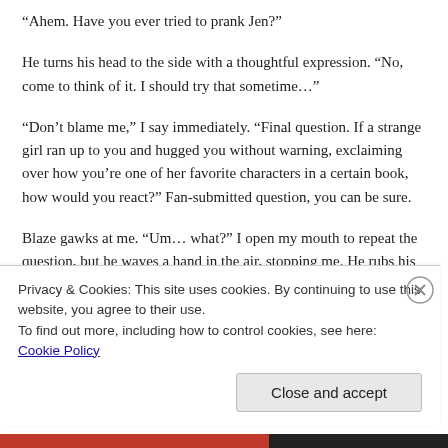“Ahem. Have you ever tried to prank Jen?”
He turns his head to the side with a thoughtful expression. “No, come to think of it. I should try that sometime…”
“Don’t blame me,” I say immediately. “Final question. If a strange girl ran up to you and hugged you without warning, exclaiming over how you’re one of her favorite characters in a certain book, how would you react?” Fan-submitted question, you can be sure.
Blaze gawks at me. “Um… what?” I open my mouth to repeat the question, but he waves a hand in the air, stopping me. He rubs his hand across his forehead. “It would depend on my state at the time. If I was on edge, I would teleport us to
Privacy & Cookies: This site uses cookies. By continuing to use this website, you agree to their use.
To find out more, including how to control cookies, see here: Cookie Policy
Close and accept